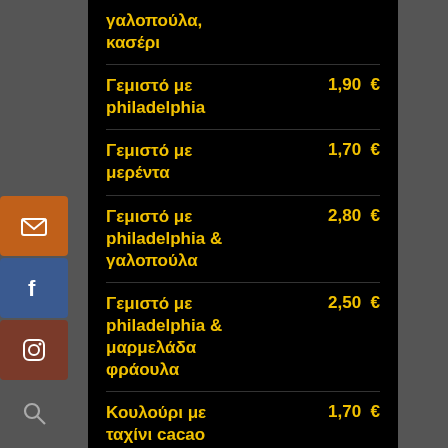γαλοπούλα, κασέρι
Γεμιστό με philadelphia  1,90 €
Γεμιστό με μερέντα  1,70 €
Γεμιστό με philadelphia & γαλοπούλα  2,80 €
Γεμιστό με philadelphia & μαρμελάδα φράουλα  2,50 €
Κουλούρι με ταχίνι cacao  1,70 €